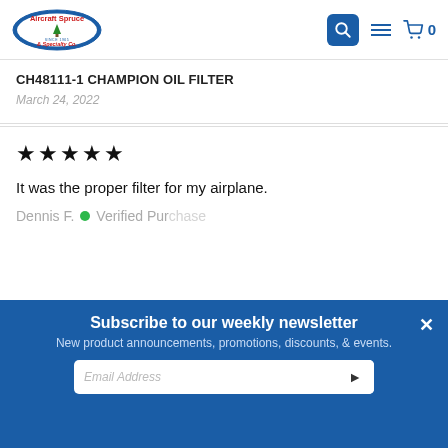[Figure (logo): Aircraft Spruce & Specialty Co. logo with blue oval shape and tree icon, red text]
CH48111-1 CHAMPION OIL FILTER
March 24, 2022
★★★★★
It was the proper filter for my airplane.
Dennis F. ● Verified Purchase
Subscribe to our weekly newsletter
New product announcements, promotions, discounts, & events.
Email Address